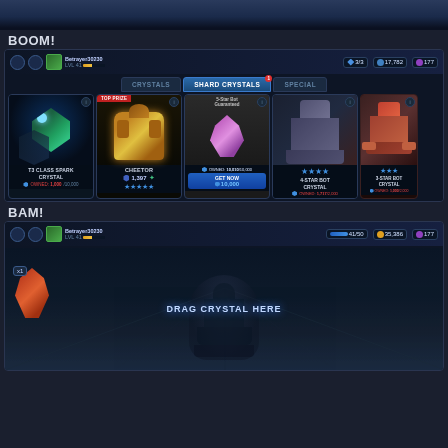[Figure (screenshot): Top banner showing a game scene with dark blue/teal background]
BOOM!
[Figure (screenshot): Game interface showing crystal shop with HUD bar displaying player name Betrayer30230, level 41, 3/3, 17,782 resources, 177 purple gems. Tab navigation: CRYSTALS, SHARD CRYSTALS (active, with badge 1), SPECIAL. Crystal cards: T3 CLASS SPARK CRYSTAL (owned 1,000/10,000), CHEETOR TOP PRIZE 1,397 (5 stars), 5-Star Bot Guaranteed shard crystal (owned 10,010/10,000 GET NOW 10,000), 4-STAR BOT CRYSTAL (owned 1,717/2,000), 3-STAR BOT CRYSTAL (owned 1,000/2,000)]
BAM!
[Figure (screenshot): Game crystal opening interface with dark room background, player HUD showing Betrayer30230 level 41, 41/50 resource, 35,386 gold, 177 purple gems. Orange/red glowing crystal on left side with x1 counter, large text DRAG CRYSTAL HERE in center, shadowy robot figure in background]